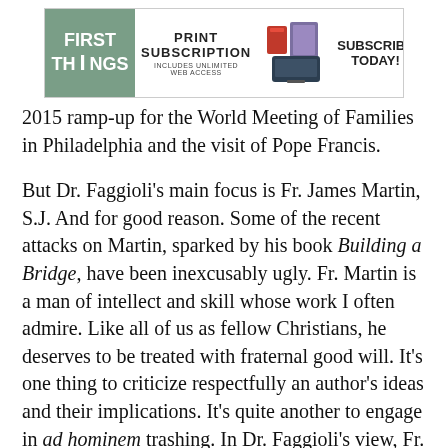[Figure (other): First Things magazine advertisement banner: green logo on left reading 'FIRST THINGS', center text 'PRINT SUBSCRIPTION INCLUDES UNLIMITED WEB ACCESS', device images in center, and 'SUBSCRIBE TODAY!' on right]
2015 ramp-up for the World Meeting of Families in Philadelphia and the visit of Pope Francis.
But Dr. Faggioli's main focus is Fr. James Martin, S.J. And for good reason. Some of the recent attacks on Martin, sparked by his book Building a Bridge, have been inexcusably ugly. Fr. Martin is a man of intellect and skill whose work I often admire. Like all of us as fellow Christians, he deserves to be treated with fraternal good will. It's one thing to criticize respectfully an author's ideas and their implications. It's quite another to engage in ad hominem trashing. In Dr. Faggioli's view, Fr. Martin is yet another victim brought low by a mob of conservative cyber-militias.